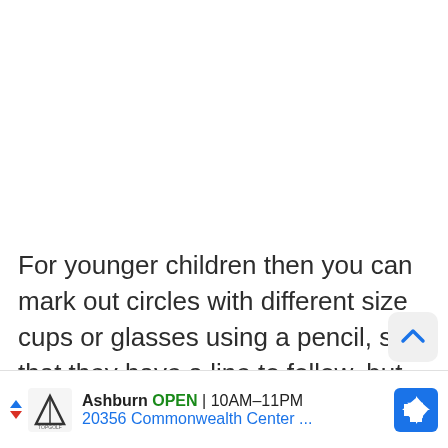For younger children then you can mark out circles with different size cups or glasses using a pencil, so that they have a line to follow, but to be honest , this looks great no matter what you do
[Figure (other): Advertisement banner for Topgolf Ashburn showing logo, OPEN status, hours 10AM-11PM, address 20356 Commonwealth Center, navigation arrow icon, and scroll-to-top button]